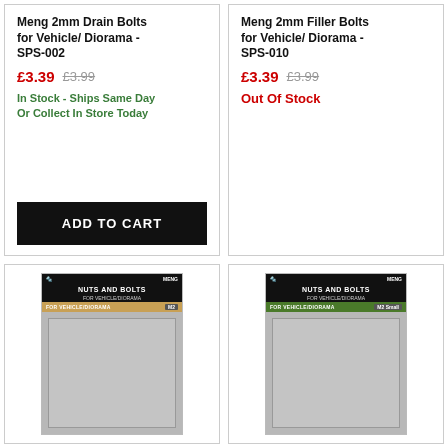Meng 2mm Drain Bolts for Vehicle/ Diorama - SPS-002
£3.39  £3.99
In Stock - Ships Same Day
Or Collect In Store Today
ADD TO CART
Meng 2mm Filler Bolts for Vehicle/ Diorama - SPS-010
£3.39  £3.99
Out Of Stock
[Figure (photo): Meng Nuts and Bolts for Vehicle/Diorama product packaging showing a sheet of plastic nuts and bolts parts - tan/gold header variant]
[Figure (photo): Meng Nuts and Bolts for Vehicle/Diorama product packaging showing a sheet of plastic nuts and bolts parts - green header variant]